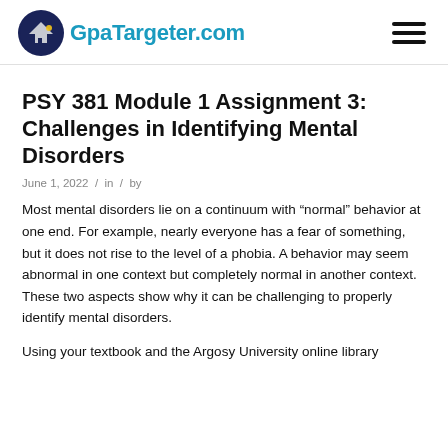GpaTargeter.com
PSY 381 Module 1 Assignment 3: Challenges in Identifying Mental Disorders
June 1, 2022 / in / by
Most mental disorders lie on a continuum with “normal” behavior at one end. For example, nearly everyone has a fear of something, but it does not rise to the level of a phobia. A behavior may seem abnormal in one context but completely normal in another context. These two aspects show why it can be challenging to properly identify mental disorders.
Using your textbook and the Argosy University online library